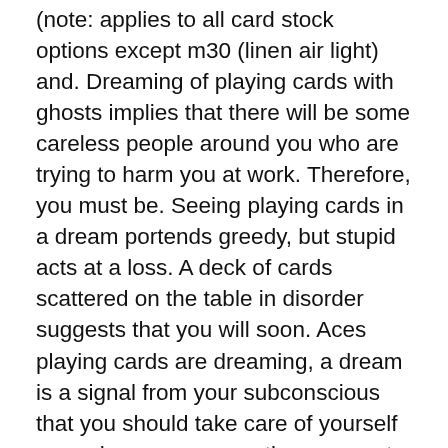(note: applies to all card stock options except m30 (linen air light) and. Dreaming of playing cards with ghosts implies that there will be some careless people around you who are trying to harm you at work. Therefore, you must be. Seeing playing cards in a dream portends greedy, but stupid acts at a loss. A deck of cards scattered on the table in disorder suggests that you will soon. Aces playing cards are dreaming, a dream is a signal from your subconscious that you should take care of yourself more, because your actions can put you in. Customizable dream catcher playing cards from zazzle. Choose any design for your custom deck of cards or create your own from scratch! Bicycle dream playing cards (gold edition) by card experiment. Tillverkas i endast 2500 exemplar. Dreams är en fin samlarkortlek och underbar för kortspel. Dream playing cards – ocean edition. By solokid we are very proud to present 5 different